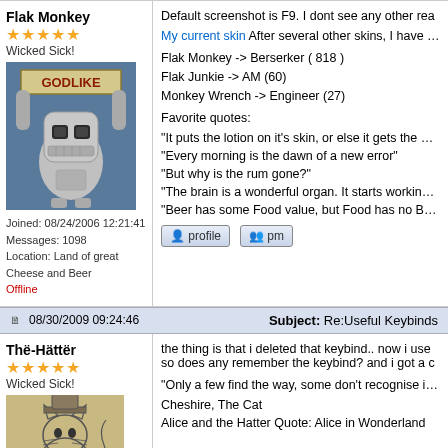Flak Monkey
★★★★★
Wicked Sick!
[Figure (photo): Avatar image of Bender robot from Futurama holding a GODLIKE sign]
Joined: 08/24/2006 12:21:41
Messages: 1098
Location: Land of great Cheese and Beer
Offline
Default screenshot is F9. I dont see any other rea...
My current skin After several other skins, I have reverted b...
Flak Monkey -> Berserker ( 818 )
Flak Junkie -> AM (60)
Monkey Wrench -> Engineer (27)
Favorite quotes:
"It puts the lotion on it's skin, or else it gets the hose again.
"Every morning is the dawn of a new error"
"But why is the rum gone?"
"The brain is a wonderful organ. It starts working the mome...
"Beer has some Food value, but Food has no Beer value."
08/30/2009 09:24:46   Subject: Re:Useful Keybinds
Thë-Hättër
★★★★★
Wicked Sick!
[Figure (photo): Avatar image of a sketched cat character]
the thing is that i deleted that keybind.. now i use... so does any remember the keybind? and i got a c...
"Only a few find the way, some don't recognise it when they...
Cheshire, The Cat
Alice and the Hatter Quote: Alice in Wonderland